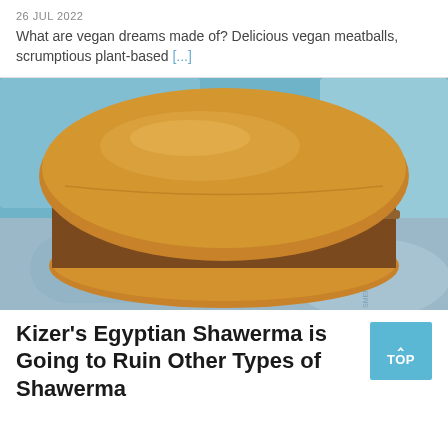26 JUL 2022
What are vegan dreams made of? Delicious vegan meatballs, scrumptious plant-based [...]
[Figure (photo): Close-up photo of a shawarma sandwich on a bun, filled with shredded meat and vegetables, placed on a blue illustrated tray]
Kizer's Egyptian Shawerma is Going to Ruin Other Types of Shawerma